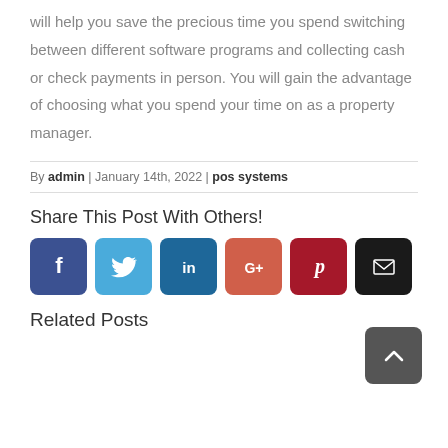will help you save the precious time you spend switching between different software programs and collecting cash or check payments in person. You will gain the advantage of choosing what you spend your time on as a property manager.
By admin | January 14th, 2022 | pos systems
Share This Post With Others!
[Figure (infographic): Row of social share buttons: Facebook (blue), Twitter (light blue), LinkedIn (dark blue), Google+ (orange-red), Pinterest (dark red), Email (black)]
Related Posts